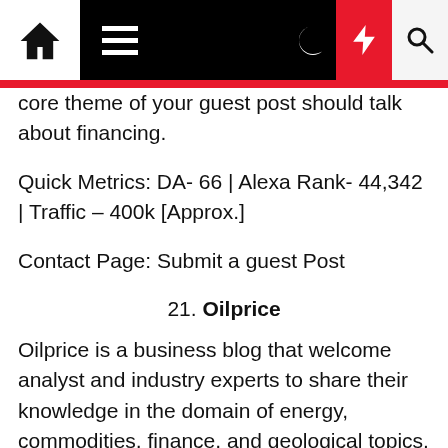Navigation bar with home, menu, moon, lightning, search icons
core theme of your guest post should talk about financing.
Quick Metrics: DA- 66 | Alexa Rank- 44,342 | Traffic – 400k [Approx.]
Contact Page: Submit a guest Post
21. Oilprice
Oilprice is a business blog that welcome analyst and industry experts to share their knowledge in the domain of energy, commodities, finance, and geological topics. If you can relate any of these to your idea of a guest blog then it's a match for you as a blogger.
Quick Metrics: DA- 82 | Alexa Rank- 12,337 | Traffic – 5.2 Million [Approx.]